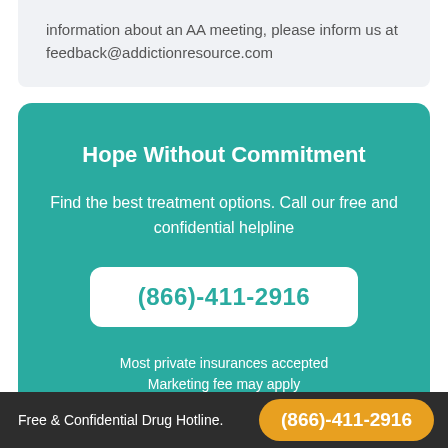information about an AA meeting, please inform us at feedback@addictionresource.com
Hope Without Commitment
Find the best treatment options. Call our free and confidential helpline
(866)-411-2916
Most private insurances accepted
Marketing fee may apply
Free & Confidential Drug Hotline. (866)-411-2916